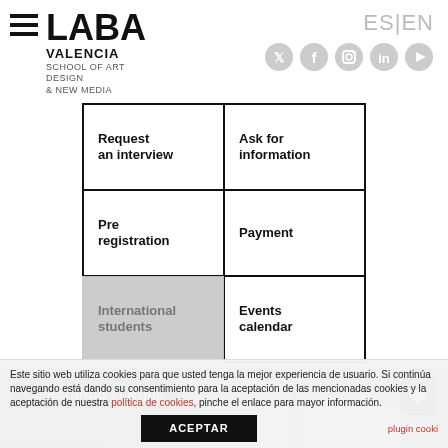[Figure (logo): LABA Valencia School of Art Design & New Media logo with hamburger menu icon]
ES | EN
[Figure (infographic): Social media icons: Twitter, Facebook, Instagram, LinkedIn, YouTube]
Request an interview
Ask for information
Pre registration
Payment
International students
Events calendar
[Figure (photo): Background photo of interior space with Celebrando el Agua label and LABA Valencia label]
Este sitio web utiliza cookies para que usted tenga la mejor experiencia de usuario. Si continúa navegando está dando su consentimiento para la aceptación de las mencionadas cookies y la aceptación de nuestra política de cookies, pinche el enlace para mayor información.
ACEPTAR
plugin cooki